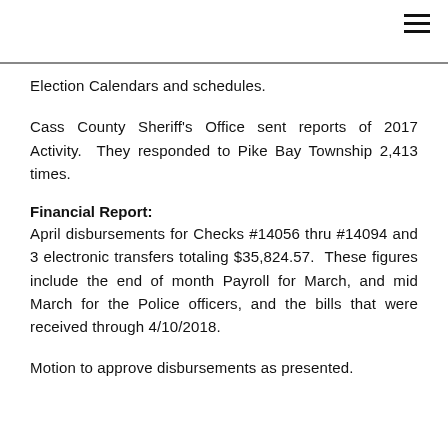≡
Election Calendars and schedules.
Cass County Sheriff's Office sent reports of 2017 Activity. They responded to Pike Bay Township 2,413 times.
Financial Report:
April disbursements for Checks #14056 thru #14094 and 3 electronic transfers totaling $35,824.57. These figures include the end of month Payroll for March, and mid March for the Police officers, and the bills that were received through 4/10/2018.
Motion to approve disbursements as presented.